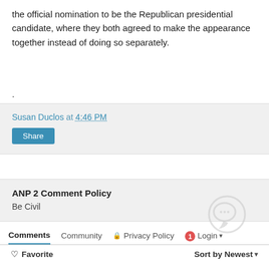the official nomination to be the Republican presidential candidate, where they both agreed to make the appearance together instead of doing so separately.
.
Susan Duclos at 4:46 PM
Share
ANP 2 Comment Policy
Be Civil
Comments  Community  🔒 Privacy Policy  1 Login
♡ Favorite  Sort by Newest